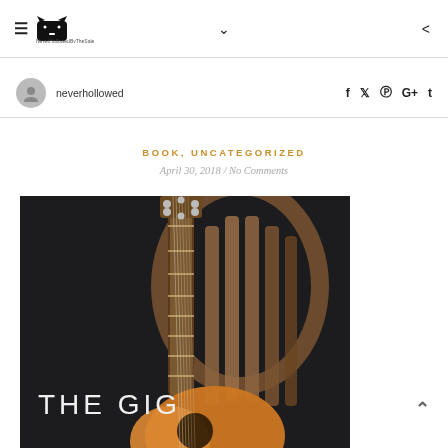≡ NeverHollowedByTheSale [logo] ∨ ⋮
neverhollowed
f  t  p  G+  t
BOOK, UNCATEGORIZED
April 30, 2018 / No Comments
[Figure (photo): Book cover for 'The Gig' showing an acoustic guitar leaning against a wooden chair on a dark background]